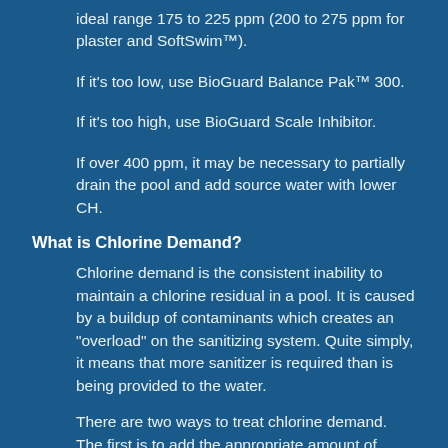ideal range 175 to 225 ppm (200 to 275 ppm for plaster and SoftSwim™).
If it's too low, use BioGuard Balance Pak™ 300.
If it's too high, use BioGuard Scale Inhibitor.
If over 400 ppm, it may be necessary to partially drain the pool and add source water with lower CH.
What is Chlorine Demand?
Chlorine demand is the consistent inability to maintain a chlorine residual in a pool. It is caused by a buildup of contaminants which creates an "overload" on the sanitizing system. Quite simply, it means that more sanitizer is required than is being provided to the water.
There are two ways to treat chlorine demand. The first is to add the appropriate amount of chlorine. The quickest way to find out what that amount is